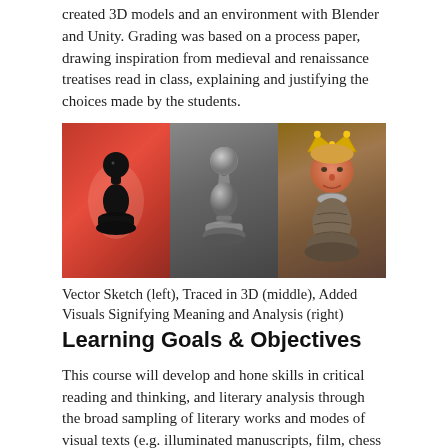created 3D models and an environment with Blender and Unity. Grading was based on a process paper, drawing inspiration from medieval and renaissance treatises read in class, explaining and justifying the choices made by the students.
[Figure (photo): Three-panel image showing the design process: left panel shows a black vector sketch of a chess pawn on a red background; middle panel shows a grey 3D-modeled chess pawn on a dark grey background; right panel shows the final 3D-printed chess pawn with a human face (resembling Trump) and a gold crown on a brown background.]
Vector Sketch (left), Traced in 3D (middle), Added Visuals Signifying Meaning and Analysis (right)
Learning Goals & Objectives
This course will develop and hone skills in critical reading and thinking, and literary analysis through the broad sampling of literary works and modes of visual texts (e.g. illuminated manuscripts, film, chess …) from the Medieval era to the present.